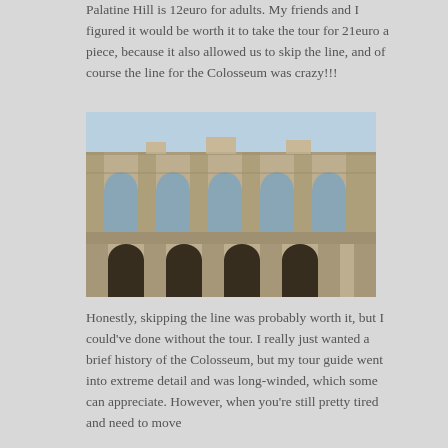Palatine Hill is 12euro for adults. My friends and I figured it would be worth it to take the tour for 21euro a piece, because it also allowed us to skip the line, and of course the line for the Colosseum was crazy!!!
[Figure (photo): Close-up photograph of the Colosseum in Rome, showing the arched exterior facade with two visible levels of arches made of ancient stone.]
Honestly, skipping the line was probably worth it, but I could've done without the tour. I really just wanted a brief history of the Colosseum, but my tour guide went into extreme detail and was long-winded, which some can appreciate. However, when you're still pretty tired and need to move